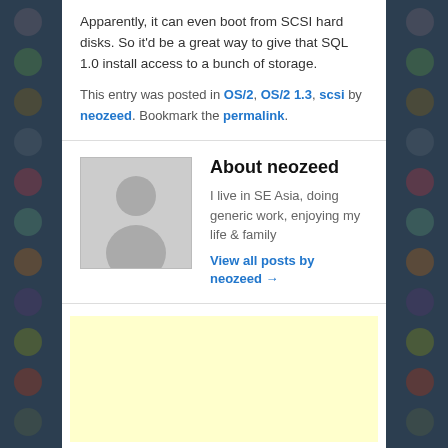Apparently, it can even boot from SCSI hard disks. So it'd be a great way to give that SQL 1.0 install access to a bunch of storage.
This entry was posted in OS/2, OS/2 1.3, scsi by neozeed. Bookmark the permalink.
About neozeed
I live in SE Asia, doing generic work, enjoying my life & family
View all posts by neozeed →
[Figure (other): Light yellow advertisement block]